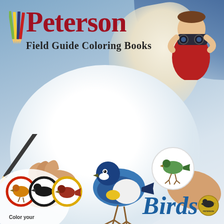[Figure (photo): Book cover of Peterson Field Guide Coloring Books: Birds. Shows a boy with binoculars in top right, two hands coloring a blue bird illustration in center, colored pencils icon top left, and bird medallions along the bottom.]
Peterson
Field Guide Coloring Books
Birds